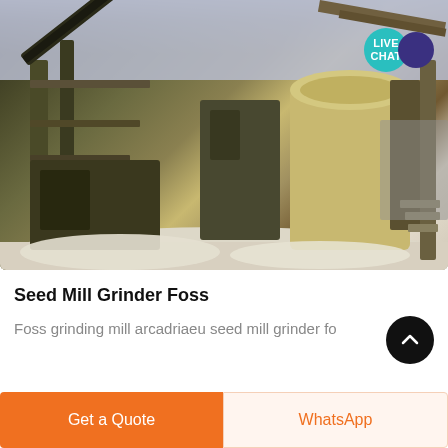[Figure (photo): Industrial seed mill grinder machinery (Foss) at an outdoor processing facility, showing conveyor belts, large cylindrical crusher unit, structural steel framework, and ground covered with white powder/material. A 'LIVE CHAT' teal badge with dark blue circle is overlaid in the upper right.]
Seed Mill Grinder Foss
Foss grinding mill arcadriaeu seed mill grinder fo…